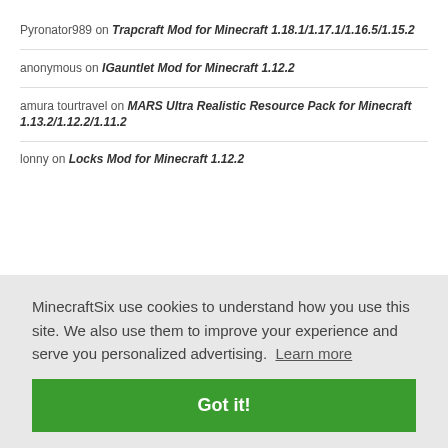Pyronator989 on Trapcraft Mod for Minecraft 1.18.1/1.17.1/1.16.5/1.15.2
anonymous on IGauntlet Mod for Minecraft 1.12.2
amura tourtravel on MARS Ultra Realistic Resource Pack for Minecraft 1.13.2/1.12.2/1.11.2
lonny on Locks Mod for Minecraft 1.12.2
MinecraftSix use cookies to understand how you use this site. We also use them to improve your experience and serve you personalized advertising. Learn more
Got it!
Minecraft Bukkit Plugins